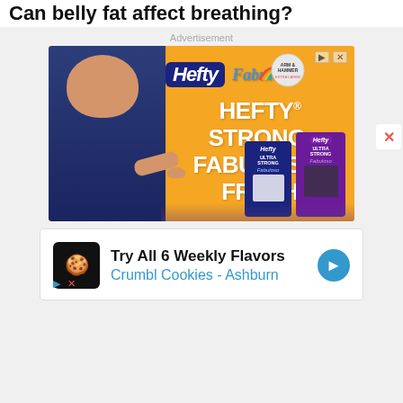Can belly fat affect breathing?
Advertisement
[Figure (photo): Hefty and Fabuloso advertisement banner with orange background, showing a muscular man in a dark shirt pointing at Hefty trash bag boxes. Text reads: HEFTY® STRONG, FABULOSO® FRESH]
[Figure (photo): Crumbl Cookies advertisement: Try All 6 Weekly Flavors, Crumbl Cookies - Ashburn, with logo and navigation arrow]